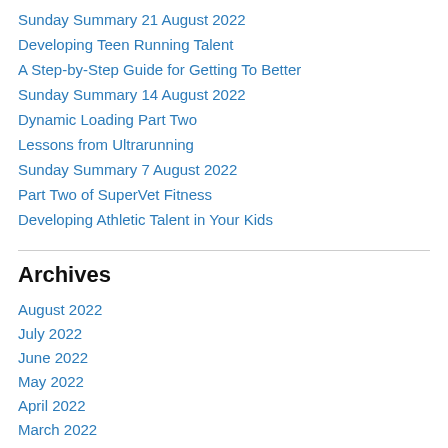Sunday Summary 21 August 2022
Developing Teen Running Talent
A Step-by-Step Guide for Getting To Better
Sunday Summary 14 August 2022
Dynamic Loading Part Two
Lessons from Ultrarunning
Sunday Summary 7 August 2022
Part Two of SuperVet Fitness
Developing Athletic Talent in Your Kids
Archives
August 2022
July 2022
June 2022
May 2022
April 2022
March 2022
February 2022